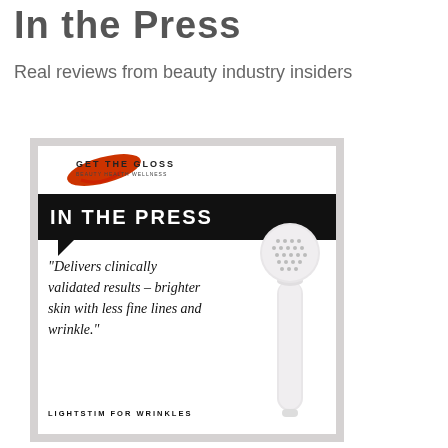In the Press
Real reviews from beauty industry insiders
[Figure (photo): Get The Gloss 'In The Press' promotional card featuring a quote about LightStim for Wrinkles device: 'Delivers clinically validated results – brighter skin with less fine lines and wrinkle.' with an image of the LightStim device on the right side.]